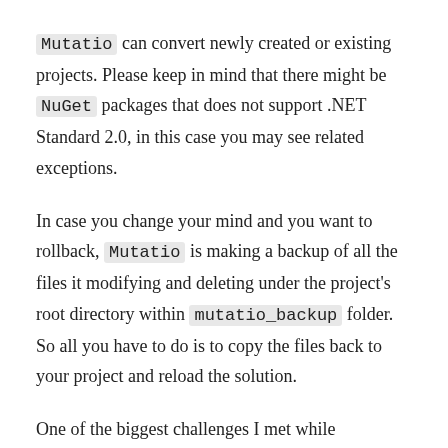Mutatio can convert newly created or existing projects. Please keep in mind that there might be NuGet packages that does not support .NET Standard 2.0, in this case you may see related exceptions.
In case you change your mind and you want to rollback, Mutatio is making a backup of all the files it modifying and deleting under the project's root directory within mutatio_backup folder. So all you have to do is to copy the files back to your project and reload the solution.
One of the biggest challenges I met while development was related to reloading the project after conversion.